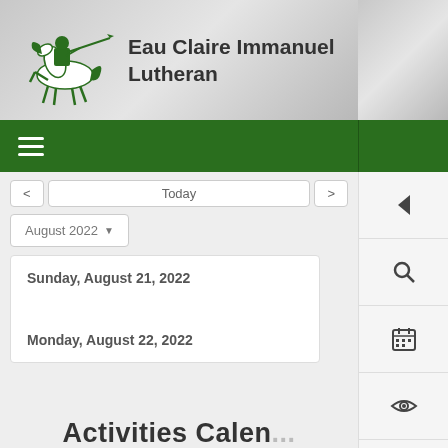[Figure (logo): Green knight on horseback with lance, school mascot for Eau Claire Immanuel Lutheran]
Eau Claire Immanuel Lutheran
≡ (navigation menu)
< Today >
August 2022
Sunday, August 21, 2022
Monday, August 22, 2022
Activities Calendar